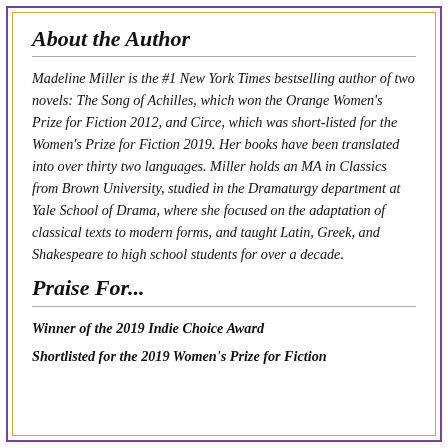About the Author
Madeline Miller is the #1 New York Times bestselling author of two novels: The Song of Achilles, which won the Orange Women's Prize for Fiction 2012, and Circe, which was short-listed for the Women's Prize for Fiction 2019. Her books have been translated into over thirty two languages. Miller holds an MA in Classics from Brown University, studied in the Dramaturgy department at Yale School of Drama, where she focused on the adaptation of classical texts to modern forms, and taught Latin, Greek, and Shakespeare to high school students for over a decade.
Praise For...
Winner of the 2019 Indie Choice Award
Shortlisted for the 2019 Women's Prize for Fiction